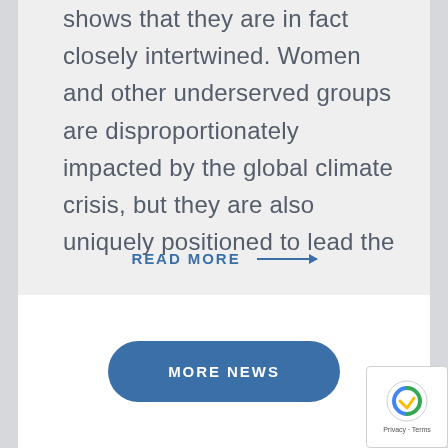shows that they are in fact closely intertwined. Women and other underserved groups are disproportionately impacted by the global climate crisis, but they are also uniquely positioned to lead the
READ MORE →
MORE NEWS